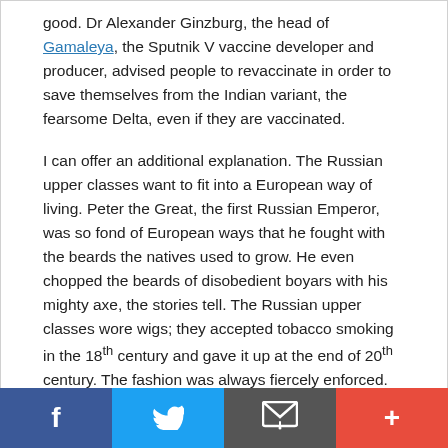good. Dr Alexander Ginzburg, the head of Gamaleya, the Sputnik V vaccine developer and producer, advised people to revaccinate in order to save themselves from the Indian variant, the fearsome Delta, even if they are vaccinated.

I can offer an additional explanation. The Russian upper classes want to fit into a European way of living. Peter the Great, the first Russian Emperor, was so fond of European ways that he fought with the beards the natives used to grow. He even chopped the beards of disobedient boyars with his mighty axe, the stories tell. The Russian upper classes wore wigs; they accepted tobacco smoking in the 18th century and gave it up at the end of 20th century. The fashion was always fiercely enforced. Perhaps now the people of Moscow with their tendency to follow European fashion decided to accept vaccines and masks.